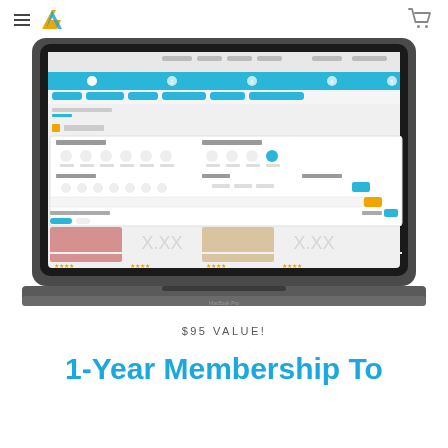≡ DA [logo] [cart icon]
[Figure (screenshot): MacBook Pro laptop mockup showing a fitness/workout website interface with a blue navigation bar, workout filter options including Workout Type, Length of Workout, Body Area, Level, Video Type, and thumbnail video results below.]
$95 VALUE!
1-Year Membership To